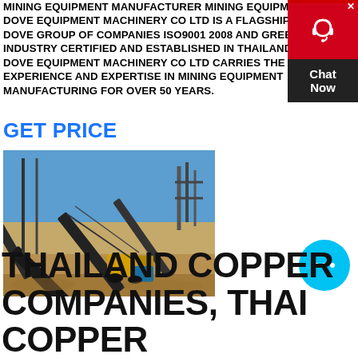MINING EQUIPMENT MANUFACTURER MINING EQUIPMENT . DOVE EQUIPMENT MACHINERY CO LTD IS A FLAGSHIP OF DOVE GROUP OF COMPANIES ISO9001 2008 AND GREEN INDUSTRY CERTIFIED AND ESTABLISHED IN THAILAND IN 1992 DOVE EQUIPMENT MACHINERY CO LTD CARRIES THE EXPERIENCE AND EXPERTISE IN MINING EQUIPMENT MANUFACTURING FOR OVER 50 YEARS.
GET PRICE
[Figure (photo): Outdoor mining equipment / conveyor belts and machinery on a dirt field under blue sky]
[Figure (other): Chat widget with red circle headset icon and Chat Now button, plus a cyan chat bubble button]
THAILAND COPPER COMPANIES, THAI COPPER